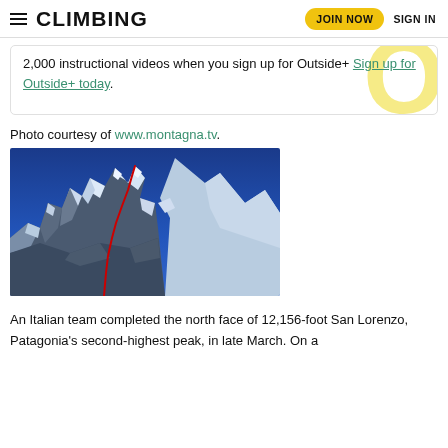CLIMBING | JOIN NOW | SIGN IN
2,000 instructional videos when you sign up for Outside+ Sign up for Outside+ today.
Photo courtesy of www.montagna.tv.
[Figure (photo): Snow-covered mountain (San Lorenzo, Patagonia) with a red climbing route line drawn on the north face, blue sky background.]
An Italian team completed the north face of 12,156-foot San Lorenzo, Patagonia's second-highest peak, in late March. On a